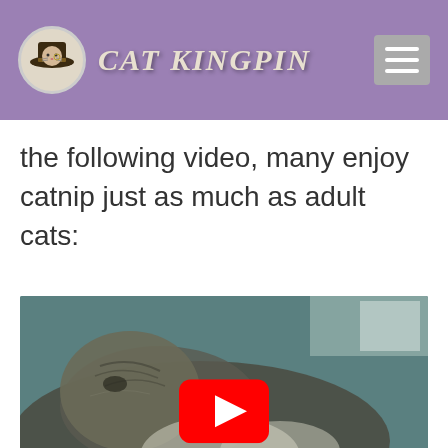CAT KINGPIN
the following video, many enjoy catnip just as much as adult cats:
[Figure (screenshot): Embedded YouTube video thumbnail showing a kitten with title 'Kitten's first catnip ...' and a red YouTube play button overlay. The thumbnail shows a gray/tabby kitten lying down. There is a purple avatar circle with the letter 'j' and a menu dots icon in the top bar.]